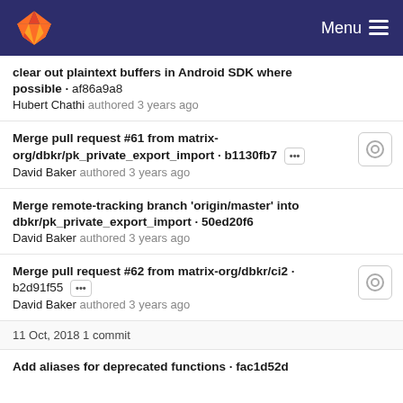GitLab — Menu
clear out plaintext buffers in Android SDK where possible · af86a9a8
Hubert Chathi authored 3 years ago
Merge pull request #61 from matrix-org/dbkr/pk_private_export_import · b1130fb7
David Baker authored 3 years ago
Merge remote-tracking branch 'origin/master' into dbkr/pk_private_export_import · 50ed20f6
David Baker authored 3 years ago
Merge pull request #62 from matrix-org/dbkr/ci2 · b2d91f55
David Baker authored 3 years ago
11 Oct, 2018 1 commit
Add aliases for deprecated functions · fac1d52d